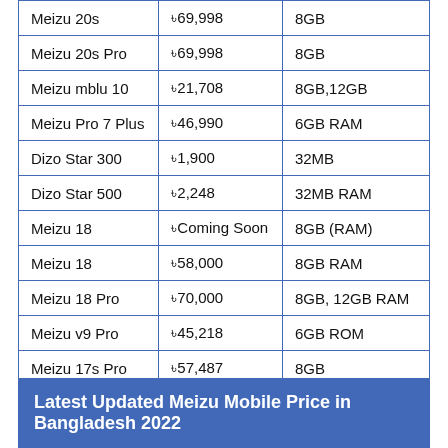| Model | Price | RAM |
| --- | --- | --- |
| Meizu 20s | ৳69,998 | 8GB |
| Meizu 20s Pro | ৳69,998 | 8GB |
| Meizu mblu 10 | ৳21,708 | 8GB,12GB |
| Meizu Pro 7 Plus | ৳46,990 | 6GB RAM |
| Dizo Star 300 | ৳1,900 | 32MB |
| Dizo Star 500 | ৳2,248 | 32MB RAM |
| Meizu 18 | ৳Coming Soon | 8GB (RAM) |
| Meizu 18 | ৳58,000 | 8GB RAM |
| Meizu 18 Pro | ৳70,000 | 8GB, 12GB RAM |
| Meizu v9 Pro | ৳45,218 | 6GB ROM |
| Meizu 17s Pro | ৳57,487 | 8GB |
| Meizu 17s | ৳43,487 | 6GB, 8GB |
| Meizu 17x | ৳53,000 | 6GB |
Latest Updated Meizu Mobile Price in Bangladesh 2022